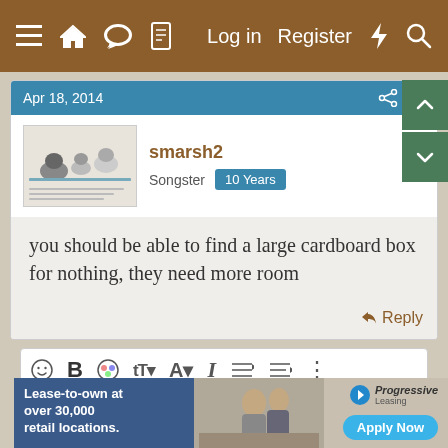[Figure (screenshot): Mobile forum app navigation bar with hamburger menu, home, chat, document icons on left, and Log in, Register, lightning bolt, search icons on right, brown background]
Apr 18, 2014   #8
smarsh2
Songster  10 Years
you should be able to find a large cardboard box for nothing, they need more room
Reply
[Figure (screenshot): Text editor toolbar with emoji, bold, color, text size, font, italic, list, align, more options icons, and image, quote, link, media, save, more, preview buttons]
Write your reply...
[Figure (infographic): Progressive Leasing advertisement banner: Lease-to-own at over 30,000 retail locations. Apply Now button.]